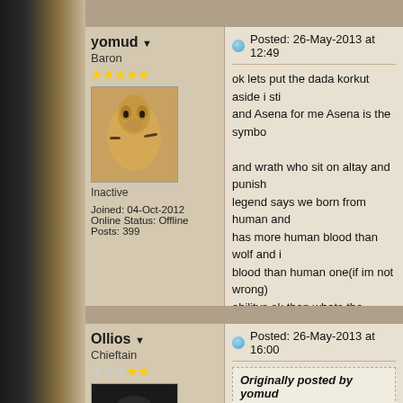yomud ▼
Baron
Inactive
Joined: 04-Oct-2012
Online Status: Offline
Posts: 399
Posted: 26-May-2013 at 12:49
ok lets put the dada korkut aside  i sti... and Asena for me Asena  is the symbo...
and wrath who sit on altay and punish ... legend says we born from human and ... has more human blood than wolf and i... blood than human one(if im not wrong)... abilitys ok than whats the tangris roles...
yomud are free people
Ollios ▼
Chieftain
Joined: 22-Feb-2011
Posted: 26-May-2013 at 16:00
Originally posted by yomud
well your links are filter and blocked i...
I am sorry for hear that.